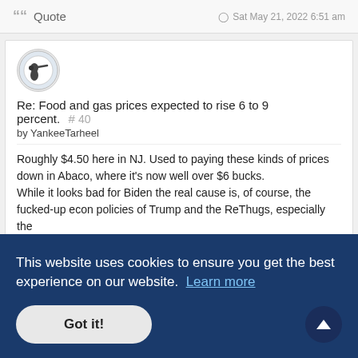Quote   Sat May 21, 2022 6:51 am
Re: Food and gas prices expected to rise 6 to 9 percent. # 40 by YankeeTarheel
Roughly $4.50 here in NJ. Used to paying these kinds of prices down in Abaco, where it's now well over $6 bucks.
While it looks bad for Biden the real cause is, of course, the fucked-up econ policies of Trump and the ReThugs, especially the ...niacs ...While ...ok ...er of
[Figure (other): Image link: DailyCovidDeathsUSA-5-21-22.JPG]
This website uses cookies to ensure you get the best experience on our website. Learn more
Got it!